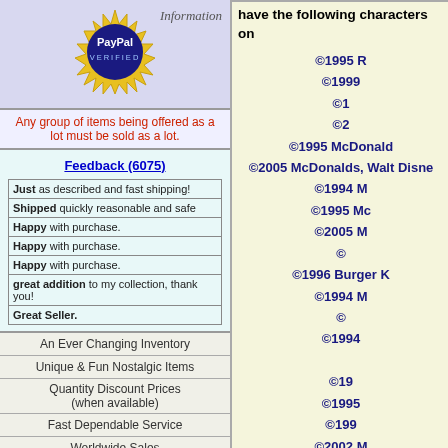[Figure (logo): PayPal Verified gold seal logo in a blue/purple box with 'Information' label]
Any group of items being offered as a lot must be sold as a lot.
Feedback (6075)
| Just as described and fast shipping! |
| Shipped quickly reasonable and safe |
| Happy with purchase. |
| Happy with purchase. |
| Happy with purchase. |
| great addition to my collection, thank you! |
| Great Seller. |
An Ever Changing Inventory
Unique & Fun Nostalgic Items
Quantity Discount Prices (when available)
Fast Dependable Service
Worldwide Sales
You can feel secure shopping with PayPal.
have the following characters on
©1995 R
©1999
©1
©2
©1995 McDonald
©2005 McDonalds, Walt Disne
©1994 M
©1995 Mc
©2005 M
©
©1996 Burger K
©1994 M
©
©1994
©19
©1995
©199
©2002 M